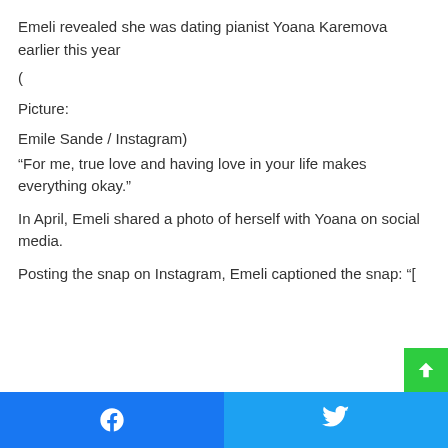Emeli revealed she was dating pianist Yoana Karemova earlier this year
(
Picture:
Emile Sande / Instagram)
“For me, true love and having love in your life makes everything okay.”
In April, Emeli shared a photo of herself with Yoana on social media.
Posting the snap on Instagram, Emeli captioned the snap: “[
Facebook share | Twitter share